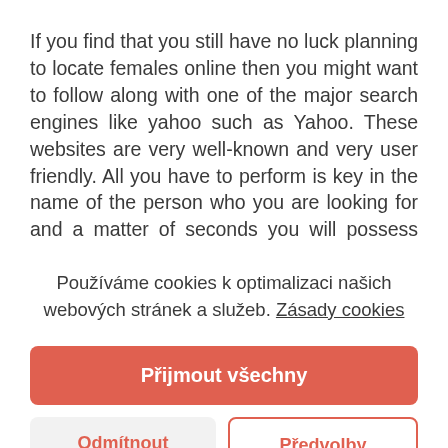If you find that you still have no luck planning to locate females online then you might want to follow along with one of the major search engines like yahoo such as Yahoo. These websites are very well-known and very user friendly. All you have to perform is key in the name of the person who you are looking for and a matter of seconds you will possess their account and some various other personal information on them. If they are a member of any online dating service than
Používáme cookies k optimalizaci našich webových stránek a služeb. Zásady cookies
Přijmout všechny
Odmítnout
Předvolby